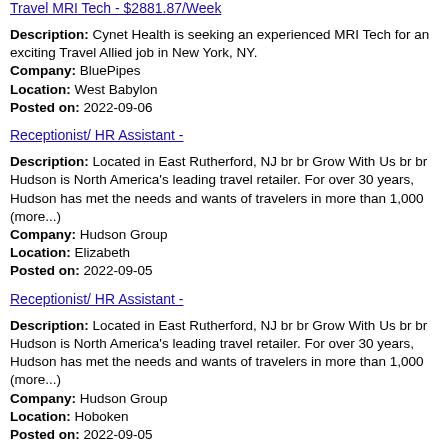Travel MRI Tech - $2881.87/Week
Description: Cynet Health is seeking an experienced MRI Tech for an exciting Travel Allied job in New York, NY.
Company: BluePipes
Location: West Babylon
Posted on: 2022-09-06
Receptionist/ HR Assistant -
Description: Located in East Rutherford, NJ br br Grow With Us br br Hudson is North America's leading travel retailer. For over 30 years, Hudson has met the needs and wants of travelers in more than 1,000 (more...)
Company: Hudson Group
Location: Elizabeth
Posted on: 2022-09-05
Receptionist/ HR Assistant -
Description: Located in East Rutherford, NJ br br Grow With Us br br Hudson is North America's leading travel retailer. For over 30 years, Hudson has met the needs and wants of travelers in more than 1,000 (more...)
Company: Hudson Group
Location: Hoboken
Posted on: 2022-09-05
HR Compensation Manager -
Description: Grow With Us Hudson is North America's leading travel retailer. For over 30 years, Hudson has met the needs and